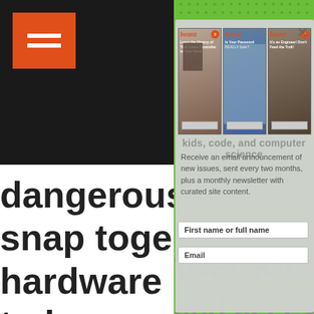[Figure (screenshot): Beanz magazine website screenshot showing a modal popup overlay. The background shows large bold text fragments about snap-together kits, hardware, computers, and holiday gifts. A modal dialog overlays the right portion showing three Beanz magazine covers and a newsletter signup form with fields for name and email. The left side has a black sidebar with an orange hamburger menu icon. The border has a green dotted pattern.]
dangerous s
snap together kits then tinker with
hardware and accessories. It's a fun way
to learn more in depth how computers
work. Kits range in complexity from
snap together to basic boards with lots
of online tutorials. They make fun
holiday gifts for older kids who have
Receive an email announcement of new issues, sent every two months, plus a monthly newsletter with curated site content.
First name or full name
Email